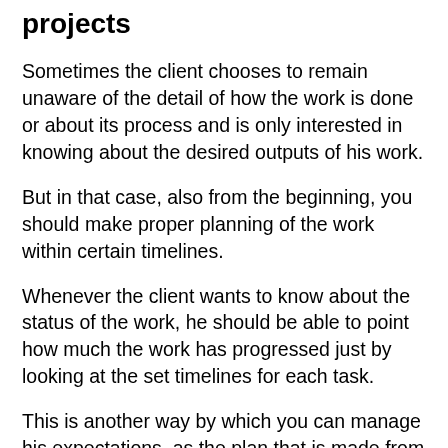projects
Sometimes the client chooses to remain unaware of the detail of how the work is done or about its process and is only interested in knowing about the desired outputs of his work.
But in that case, also from the beginning, you should make proper planning of the work within certain timelines.
Whenever the client wants to know about the status of the work, he should be able to point how much the work has progressed just by looking at the set timelines for each task.
This is another way by which you can manage his expectations, as the plan that is made from the